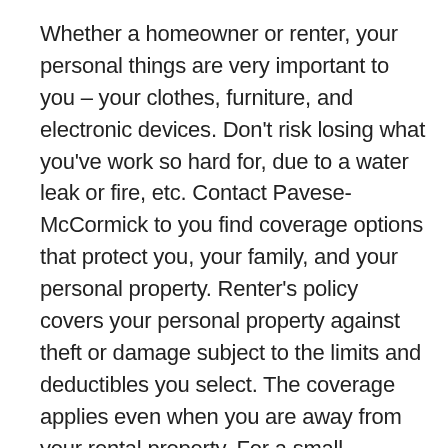Whether a homeowner or renter, your personal things are very important to you – your clothes, furniture, and electronic devices. Don't risk losing what you've work so hard for, due to a water leak or fire, etc. Contact Pavese-McCormick to you find coverage options that protect you, your family, and your personal property. Renter's policy covers your personal property against theft or damage subject to the limits and deductibles you select. The coverage applies even when you are away from your rental property. For a small additional premium, you can choose to carry full value coverage on your